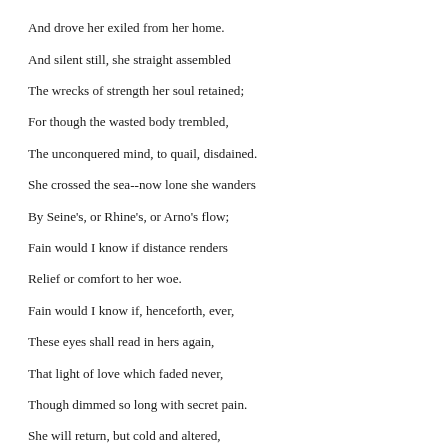And drove her exiled from her home.
And silent still, she straight assembled
The wrecks of strength her soul retained;
For though the wasted body trembled,
The unconquered mind, to quail, disdained.
She crossed the sea--now lone she wanders
By Seine's, or Rhine's, or Arno's flow;
Fain would I know if distance renders
Relief or comfort to her woe.
Fain would I know if, henceforth, ever,
These eyes shall read in hers again,
That light of love which faded never,
Though dimmed so long with secret pain.
She will return, but cold and altered,
Like all whose hopes too soon depart;
Like all on whom have beat, unsheltered,
The bitter blasts that blight the heart.
No more shall I behold her lying
Calm on a pillow, smoothed by me;
No more that spirit, worn with sighing,
Will know the rest of infancy.
If still the paths of lore she follow,
'Twill be with tired and goaded will;
She'll only toil, the aching hollow,
The joyless blank of life to fill.
And oh! full oft, quite spent and weary,
Her hand will pause, her head decline;
That labour seems so hard and dreary,
On which no ray of hope may shine.
Thus the pale blight of time and sorrow